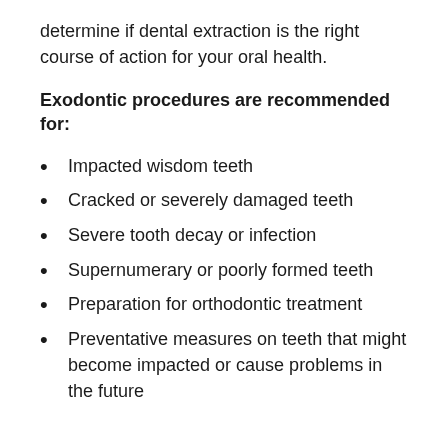determine if dental extraction is the right course of action for your oral health.
Exodontic procedures are recommended for:
Impacted wisdom teeth
Cracked or severely damaged teeth
Severe tooth decay or infection
Supernumerary or poorly formed teeth
Preparation for orthodontic treatment
Preventative measures on teeth that might become impacted or cause problems in the future